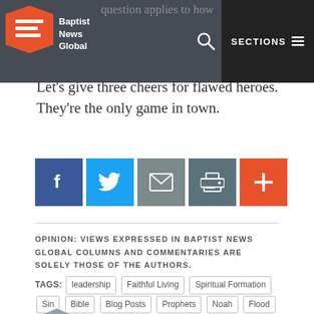Baptist News Global — SECTIONS
...question applies to how I look at myself.
Let's give three cheers for flawed heroes. They're the only game in town.
[Figure (other): Social share buttons: Facebook, Twitter, Email, Print, Add (+)]
OPINION: VIEWS EXPRESSED IN BAPTIST NEWS GLOBAL COLUMNS AND COMMENTARIES ARE SOLELY THOSE OF THE AUTHORS.
TAGS: leadership  Faithful Living  Spiritual Formation  Sin  Bible  Blog Posts  Prophets  Noah  Flood  Heroes  Kings
MORE BY
MIKE SMITH »